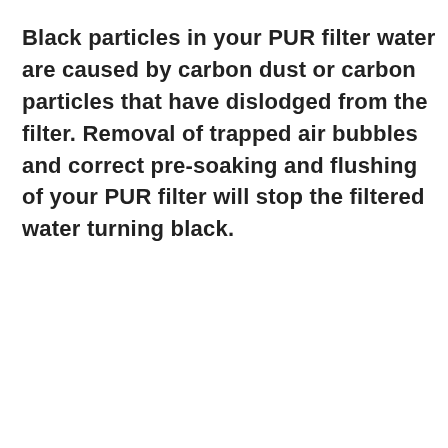Black particles in your PUR filter water are caused by carbon dust or carbon particles that have dislodged from the filter. Removal of trapped air bubbles and correct pre-soaking and flushing of your PUR filter will stop the filtered water turning black.